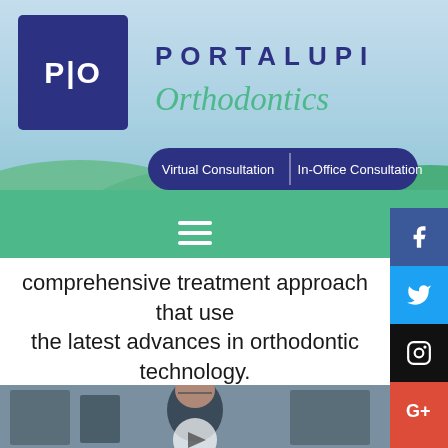[Figure (logo): Portalupi Orthodontics header with logo, practice name, and navigation buttons on a sky/landscape background]
comprehensive treatment approach that uses the latest advances in orthodontic technology. Portalupi is the only board certified orthodontist in Woodland, CA.
[Figure (photo): Doctor smiling outdoors in front of a building, with a YouTube play button overlay at bottom center]
[Figure (infographic): Social media sidebar icons: Facebook, Twitter, Instagram, Google+, YouTube]